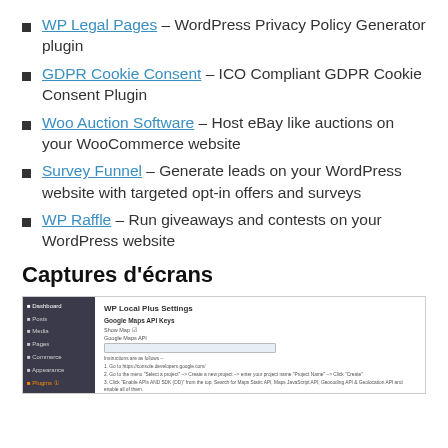WP Legal Pages – WordPress Privacy Policy Generator plugin
GDPR Cookie Consent – ICO Compliant GDPR Cookie Consent Plugin
Woo Auction Software – Host eBay like auctions on your WooCommerce website
Survey Funnel – Generate leads on your WordPress website with targeted opt-in offers and surveys
WP Raffle – Run giveaways and contests on your WordPress website
Captures d'écrans
[Figure (screenshot): Screenshot of WP Local Plus Settings page in WordPress admin showing Google Maps API Keys section with an input field and instructions.]